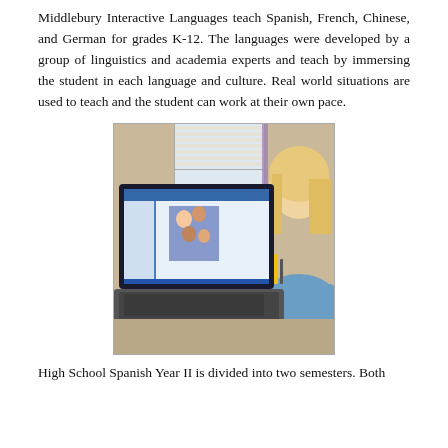Middlebury Interactive Languages teach Spanish, French, Chinese, and German for grades K-12. The languages were developed by a group of linguistics and academia experts and teach by immersing the student in each language and culture. Real world situations are used to teach and the student can work at their own pace.
[Figure (photo): A student (viewed from behind) using a laptop computer that displays a language learning website with a family photo on the screen. The student has long blonde hair and is seated at a desk or table.]
High School Spanish Year II is divided into two semesters. Both